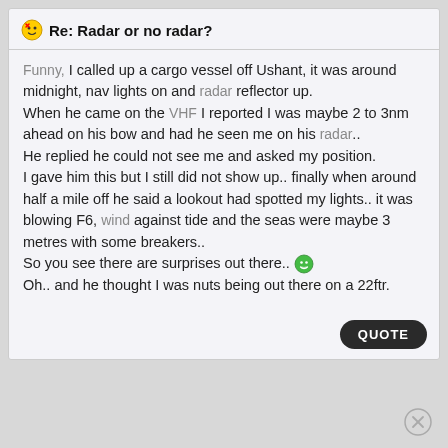Re: Radar or no radar?
Funny, I called up a cargo vessel off Ushant, it was around midnight, nav lights on and radar reflector up.
When he came on the VHF I reported I was maybe 2 to 3nm ahead on his bow and had he seen me on his radar..
He replied he could not see me and asked my position.
I gave him this but I still did not show up.. finally when around half a mile off he said a lookout had spotted my lights.. it was blowing F6, wind against tide and the seas were maybe 3 metres with some breakers..
So you see there are surprises out there.. 😁
Oh.. and he thought I was nuts being out there on a 22ftr.